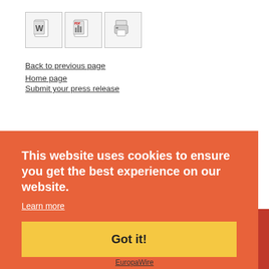[Figure (other): Toolbar with three icon buttons: Word document icon, PDF/chart icon, and printer icon]
Back to previous page
Home page
Submit your press release
This website uses cookies to ensure you get the best experience on our website.
Learn more
Got it!
EuropaWire